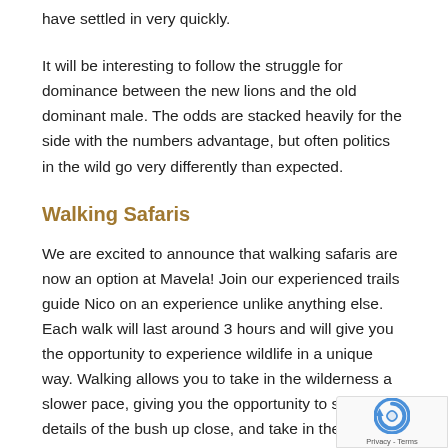have settled in very quickly.
It will be interesting to follow the struggle for dominance between the new lions and the old dominant male. The odds are stacked heavily for the side with the numbers advantage, but often politics in the wild go very differently than expected.
Walking Safaris
We are excited to announce that walking safaris are now an option at Mavela! Join our experienced trails guide Nico on an experience unlike anything else. Each walk will last around 3 hours and will give you the opportunity to experience wildlife in a unique way. Walking allows you to take in the wilderness a slower pace, giving you the opportunity to stud the details of the bush up close, and take in the